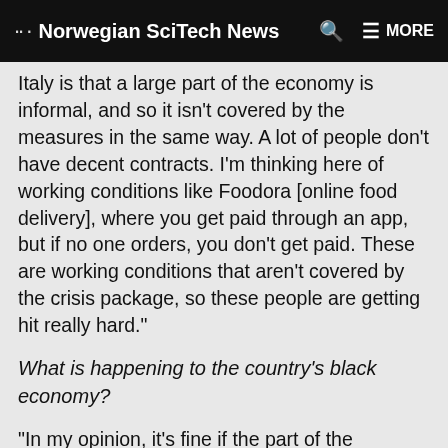Norwegian SciTech News  Q  MORE
Italy is that a large part of the economy is informal, and so it isn't covered by the measures in the same way. A lot of people don't have decent contracts. I'm thinking here of working conditions like Foodora [online food delivery], where you get paid through an app, but if no one orders, you don't get paid. These are working conditions that aren't covered by the crisis package, so these people are getting hit really hard."
What is happening to the country's black economy?
"In my opinion, it's fine if the part of the economy related to criminal activity is struggling. I'm mostly